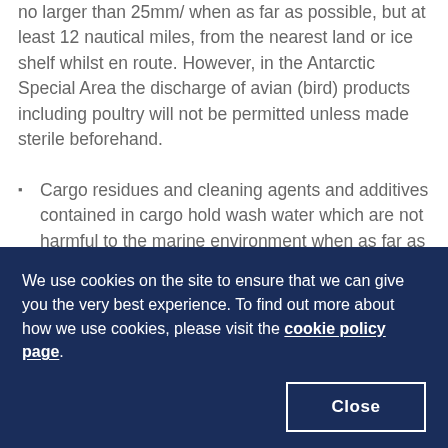no larger than 25mm/ when as far as possible, but at least 12 nautical miles, from the nearest land or ice shelf whilst en route. However, in the Antarctic Special Area the discharge of avian (bird) products including poultry will not be permitted unless made sterile beforehand.
Cargo residues and cleaning agents and additives contained in cargo hold wash water which are not harmful to the marine environment when as far as possible, but at least 12 nautical miles, from the nearest land or ice shelf whilst en route. Such an
We use cookies on the site to ensure that we can give you the very best experience. To find out more about how we use cookies, please visit the cookie policy page.